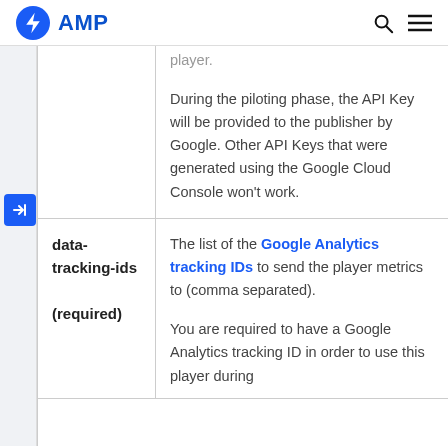AMP
player.
During the piloting phase, the API Key will be provided to the publisher by Google. Other API Keys that were generated using the Google Cloud Console won't work.
| data-tracking-ids (required) | description |
| --- | --- |
| data-tracking-ids
(required) | The list of the Google Analytics tracking IDs to send the player metrics to (comma separated).

You are required to have a Google Analytics tracking ID in order to use this player during |